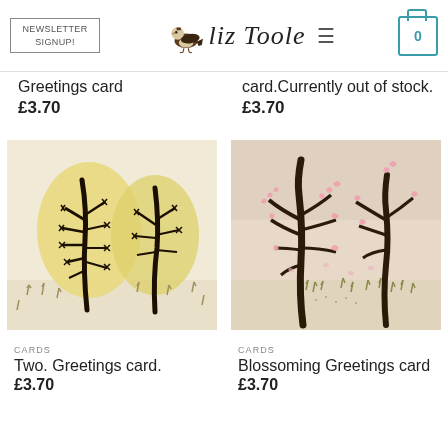NEWSLETTER SIGNUP! | Liz Toole | ≡ | 0
Greetings card
£3.70
card.Currently out of stock.
£3.70
[Figure (illustration): Artwork of two trees with dark trunks against large yellow/cream oval shapes, small plants in foreground, pale background]
CARDS
Two. Greetings card.
£3.70
[Figure (illustration): Artwork of bare dark-branched trees with pink blossoms scattered, small plants in foreground, soft beige/pink sky]
CARDS
Blossoming Greetings card
£3.70